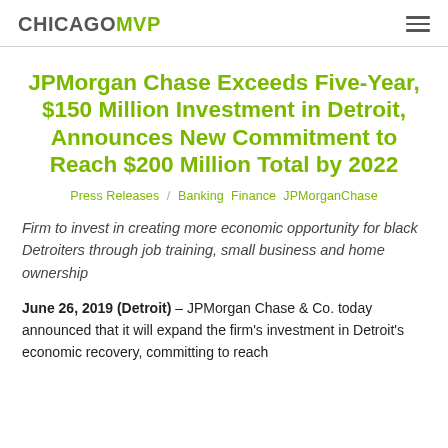CHICAGOMVP
JPMorgan Chase Exceeds Five-Year, $150 Million Investment in Detroit, Announces New Commitment to Reach $200 Million Total by 2022
Press Releases / Banking Finance JPMorganChase
Firm to invest in creating more economic opportunity for black Detroiters through job training, small business and home ownership
June 26, 2019 (Detroit) – JPMorgan Chase & Co. today announced that it will expand the firm's investment in Detroit's economic recovery, committing to reach